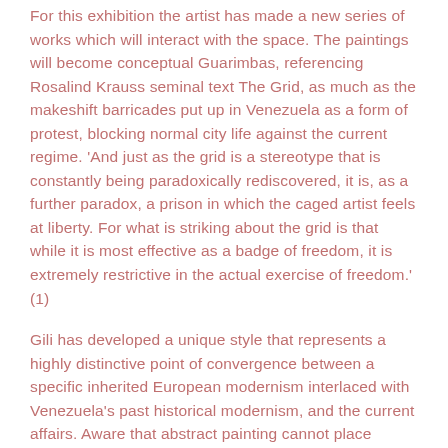For this exhibition the artist has made a new series of works which will interact with the space. The paintings will become conceptual Guarimbas, referencing Rosalind Krauss seminal text The Grid, as much as the makeshift barricades put up in Venezuela as a form of protest, blocking normal city life against the current regime. 'And just as the grid is a stereotype that is constantly being paradoxically rediscovered, it is, as a further paradox, a prison in which the caged artist feels at liberty. For what is striking about the grid is that while it is most effective as a badge of freedom, it is extremely restrictive in the actual exercise of freedom.' (1)
Gili has developed a unique style that represents a highly distinctive point of convergence between a specific inherited European modernism interlaced with Venezuela's past historical modernism, and the current affairs. Aware that abstract painting cannot place current reality as such on to the canvas – for instance, the reality of protests and the disintegration of democracy – Gili takes on these issues through their tempo and the painting's own slow process of becoming. Thus, gradually and looking within its own limitations,